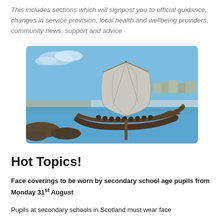This includes sections which will signpost you to official guidance, changes in service provision, local health and wellbeing providers, community news, support and advice
[Figure (photo): A metal Viking longship sculpture with a large metallic sail, set against a coastal backdrop with a blue sky, sandy beach, and a town visible in the background.]
Hot Topics!
Face coverings to be worn by secondary school age pupils from Monday 31st August
Pupils at secondary schools in Scotland must wear face